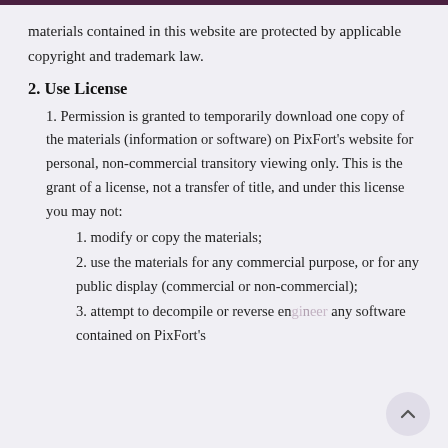materials contained in this website are protected by applicable copyright and trademark law.
2. Use License
Permission is granted to temporarily download one copy of the materials (information or software) on PixFort's website for personal, non-commercial transitory viewing only. This is the grant of a license, not a transfer of title, and under this license you may not:
modify or copy the materials;
use the materials for any commercial purpose, or for any public display (commercial or non-commercial);
attempt to decompile or reverse engineer any software contained on PixFort's